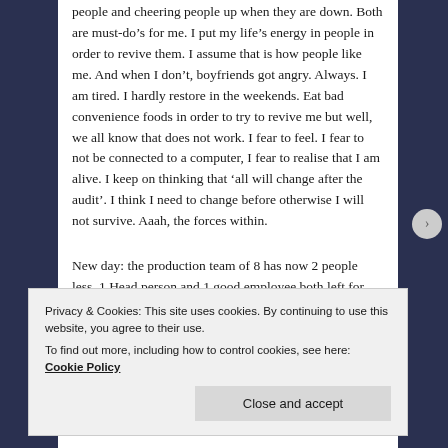people and cheering people up when they are down. Both are must-do's for me. I put my life's energy in people in order to revive them. I assume that is how people like me. And when I don't, boyfriends got angry. Always. I am tired. I hardly restore in the weekends. Eat bad convenience foods in order to try to revive me but well, we all know that does not work. I fear to feel. I fear to not be connected to a computer, I fear to realise that I am alive. I keep on thinking that 'all will change after the audit'. I think I need to change before otherwise I will not survive. Aaah, the forces within.
New day: the production team of 8 has now 2 people less. 1 Head person and 1 good employee both left for reasons
Privacy & Cookies: This site uses cookies. By continuing to use this website, you agree to their use.
To find out more, including how to control cookies, see here: Cookie Policy
Close and accept